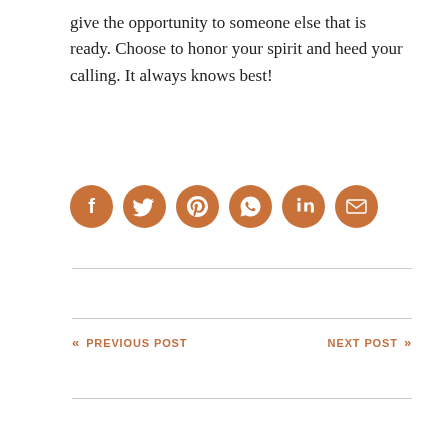give the opportunity to someone else that is ready. Choose to honor your spirit and heed your calling. It always knows best!
[Figure (infographic): Six circular social media share buttons in orange/brown color: Facebook, Twitter, Pinterest, WhatsApp, LinkedIn, Email]
« PREVIOUS POST
NEXT POST »